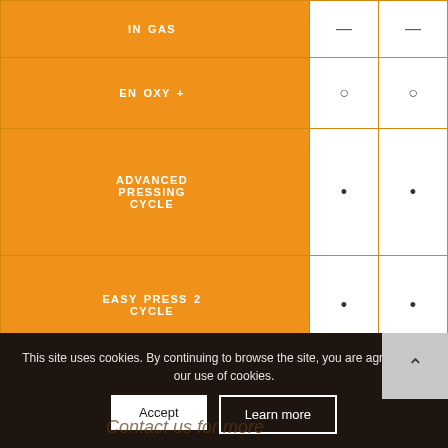| Feature | Col1 | Col2 |
| --- | --- | --- |
| IN GAS | — | — |
| EN OXY + | ○ | ○ |
| ADVANCED PRESSING CYCLE | • | • |
| EASY PRESS 2 CYCLE | • | • |
| TOUCHSCREEN | • | • |
This site uses cookies. By continuing to browse the site, you are agreeing to our use of cookies.
Accept
Learn more
Contact us for more